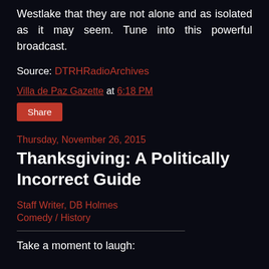Westlake that they are not alone and as isolated as it may seem. Tune into this powerful broadcast.
Source: DTRHRadioArchives
Villa de Paz Gazette at 6:18 PM
Share
Thursday, November 26, 2015
Thanksgiving: A Politically Incorrect Guide
Staff Writer, DB Holmes
Comedy / History
Take a moment to laugh: